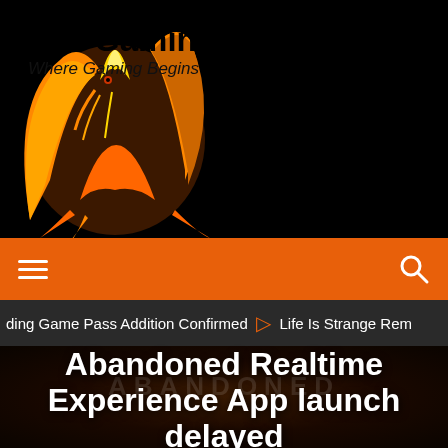[Figure (logo): Gaming website logo: phoenix/fire bird illustration on black background with site name 'Lv1 Gaming' and tagline 'Where Gaming Begins']
Lv1 Gaming
Where Gaming Begins
[Figure (infographic): Orange navigation bar with hamburger menu icon on left and search icon on right]
ding Game Pass Addition Confirmed   ⊙   Life Is Strange Rem
[Figure (photo): Dark hero image with 'ABANDONED' watermark text, background for article about Abandoned Realtime Experience App]
Abandoned Realtime Experience App launch delayed